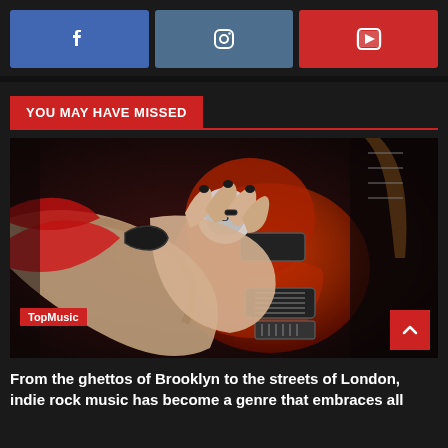[Figure (infographic): Three social media buttons: Facebook (blue), Instagram (steel blue), YouTube (red), each with white icon]
YOU MAY HAVE MISSED
[Figure (photo): Close-up photo of a person in a red jacket playing a red electric guitar (Les Paul style), hand pressed against the body of the guitar with dark nail polish and rings. Dark moody background.]
TopMusic
From the ghettos of Brooklyn to the streets of London, indie rock music has become a genre that embraces all